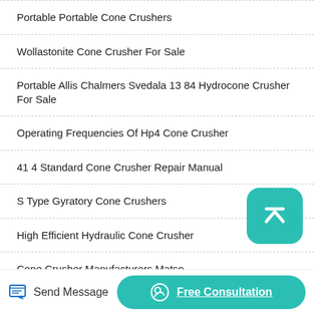Portable Portable Cone Crushers
Wollastonite Cone Crusher For Sale
Portable Allis Chalmers Svedala 13 84 Hydrocone Crusher For Sale
Operating Frequencies Of Hp4 Cone Crusher
41 4 Standard Cone Crusher Repair Manual
S Type Gyratory Cone Crushers
High Efficient Hydraulic Cone Crusher
Cone Crusher Manufacturers Matso
Sparsa For A Cone Crusher